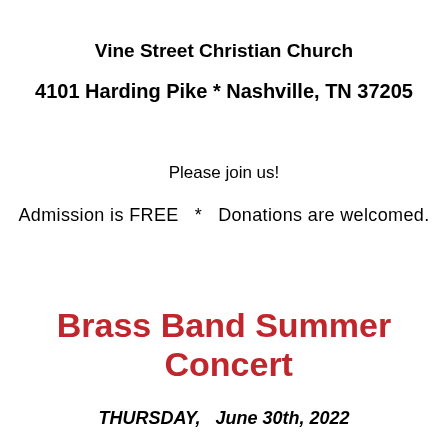Vine Street Christian Church
4101 Harding Pike * Nashville, TN 37205
Please join us!
Admission is FREE   *   Donations are welcomed.
Brass Band Summer  Concert
THURSDAY,   June 30th, 2022